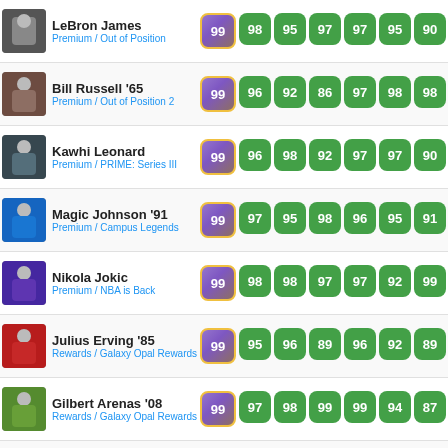| Player | Type | OVR | S1 | S2 | S3 | S4 | S5 | S6 |
| --- | --- | --- | --- | --- | --- | --- | --- | --- |
| LeBron James | Premium / Out of Position | 99 | 98 | 95 | 97 | 97 | 95 | 90 |
| Bill Russell '65 | Premium / Out of Position 2 | 99 | 96 | 92 | 86 | 97 | 98 | 98 |
| Kawhi Leonard | Premium / PRIME: Series III | 99 | 96 | 98 | 92 | 97 | 97 | 90 |
| Magic Johnson '91 | Premium / Campus Legends | 99 | 97 | 95 | 98 | 96 | 95 | 91 |
| Nikola Jokic | Premium / NBA is Back | 99 | 98 | 98 | 97 | 97 | 92 | 99 |
| Julius Erving '85 | Rewards / Galaxy Opal Rewards | 99 | 95 | 96 | 89 | 96 | 92 | 89 |
| Gilbert Arenas '08 | Rewards / Galaxy Opal Rewards | 99 | 97 | 98 | 99 | 99 | 94 | 87 |
| Hakeem Olajuwon '94 | Premium / Glitched | 99 | 97 | 96 | 85 | 93 | 96 | 98 |
| Zion Williamson | Rewards / Galaxy Opal Rewards | 99 | 98 | 97 | 91 | 97 | 92 | 98 |
| Oscar Robertson '74 | Premium / PRIME: Series II | 99 | 96 | 97 | 97 | 97 | 95 | 95 |
| Michael Jordan '95 | Premium / Flash 3 | 99 | 97 | 97 | 92 | 97 | 97 | 79 |
| Bam Adebayo | Premium / NBA is Back | 99 | 98 | 97 | 89 | 96 | 92 | 98 |
| LaMelo Ball | Premium / NEXT | 99 | 96 | 97 | 98 | 98 | 94 | 89 |
| Damian Lillard | Premium / NBA is Back | 99 | 97 | 99 | 99 | 98 | 91 | 88 |
| Dino Radja '94 | Premium / ... | 99 | 97 | 95 | 85 | 95 | 95 | 97 |